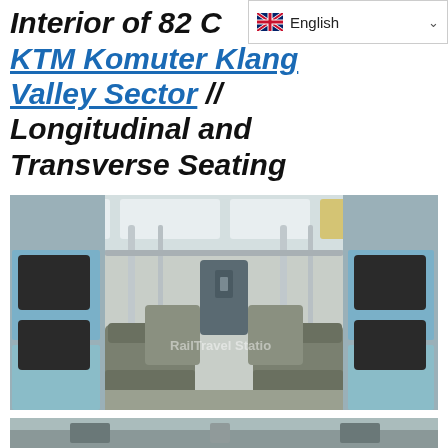English (language selector)
Interior of 82 C KTM Komuter Klang Valley Sector // Longitudinal and Transverse Seating
[Figure (photo): Interior of KTM Komuter train car showing longitudinal and transverse seating arrangement, overhead handrails, blue-painted walls with murals, and aisle leading to far end of carriage.]
[Figure (photo): Partial view of another interior photo of the same or similar KTM Komuter train car.]